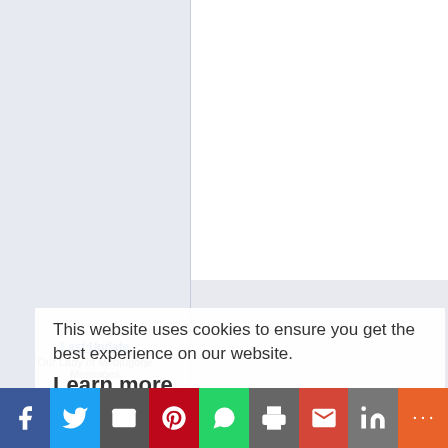[Figure (screenshot): Website sidebar with light blue-grey background and navigation links]
Last Update
Our Lady of Medjugorje Messages
July 25, 2022
Medjugorje Videos
June 11, 2018
Medjugorje News & Articles
April 15, 2017
This website uses cookies to ensure you get the best experience on our website.
Learn more
Got it!
[Figure (screenshot): Social sharing bar with Facebook, Twitter, Email, Pinterest, WhatsApp, Print, Gmail, LinkedIn, and More buttons]